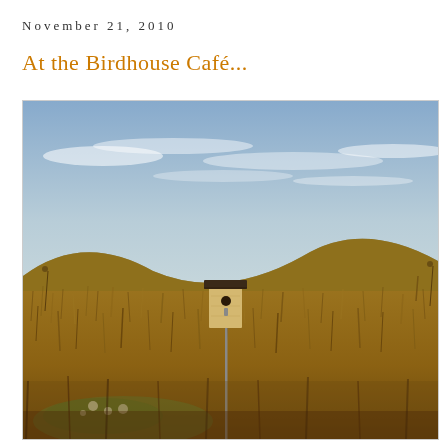November 21, 2010
At the Birdhouse Café...
[Figure (photo): A wooden birdhouse on a tall thin metal pole standing alone in a field of tall golden-brown dried grass, with a gently sloping hill in the background and a partly cloudy blue sky above.]